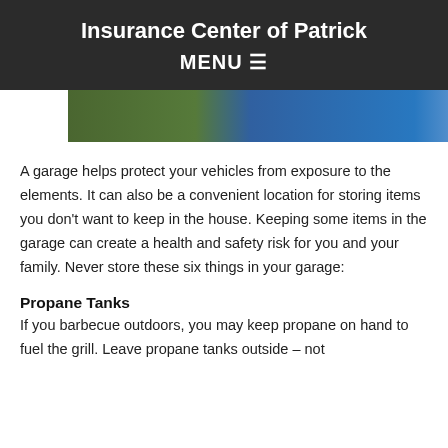Insurance Center of Patrick
MENU ≡
[Figure (photo): A partial view of a garage interior showing items stored inside, with colors including green, blue, yellow, and red.]
A garage helps protect your vehicles from exposure to the elements. It can also be a convenient location for storing items you don't want to keep in the house. Keeping some items in the garage can create a health and safety risk for you and your family. Never store these six things in your garage:
Propane Tanks
If you barbecue outdoors, you may keep propane on hand to fuel the grill. Leave propane tanks outside – not